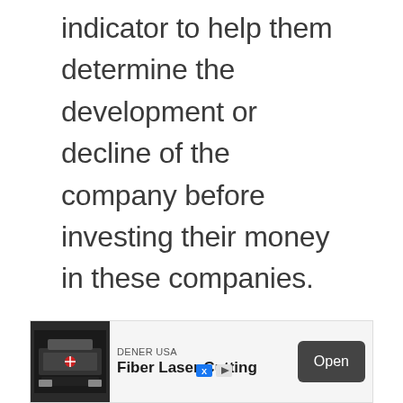indicator to help them determine the development or decline of the company before investing their money in these companies.
[Figure (other): Advertisement banner for DENER USA Fiber Laser Cutting with an Open button]